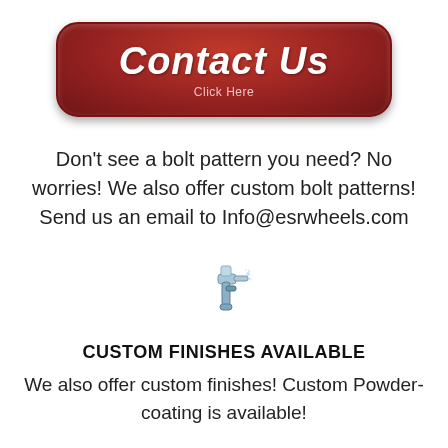[Figure (illustration): Red rounded-rectangle button with script text 'Contact Us' and subtitle 'Click Here']
Don't see a bolt pattern you need? No worries! We also offer custom bolt patterns! Send us an email to Info@esrwheels.com
[Figure (illustration): Spray paint gun icon]
CUSTOM FINISHES AVAILABLE
We also offer custom finishes! Custom Powder-coating is available!